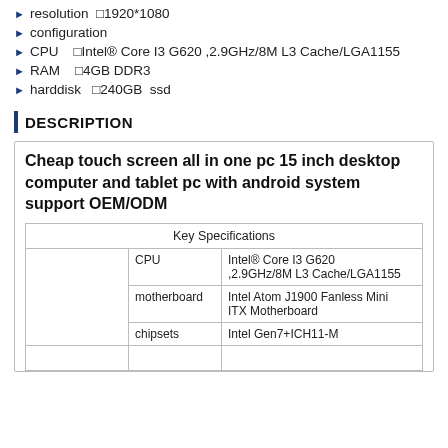resolution  1920*1080
configuration
CPU    Intel® Core I3 G620 ,2.9GHz/8M L3 Cache/LGA1155
RAM    4GB DDR3
harddisk   240GB  ssd
DESCRIPTION
Cheap touch screen all in one pc 15 inch desktop computer and tablet pc with android system support OEM/ODM
|  |  | Key Specifications |
| --- | --- | --- |
|  | CPU | Intel® Core I3 G620 ,2.9GHz/8M L3 Cache/LGA1155 |
|  | motherboard | Intel Atom J1900 Fanless Mini ITX Motherboard |
|  | chipsets | Intel Gen7+ICH11-M |